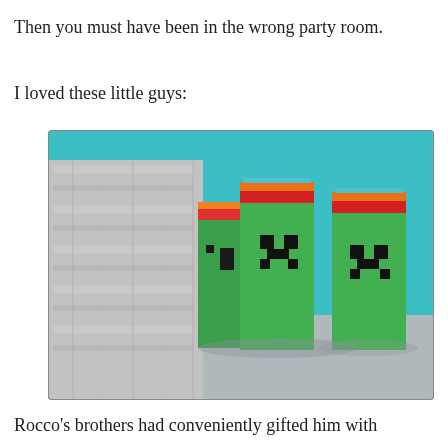Then you must have been in the wrong party room.
I loved these little guys:
[Figure (photo): Photo of three green juice boxes decorated as Minecraft Creeper characters, with black pixel-art faces, standing on a table with a silver metallic decoration and teal background.]
Rocco's brothers had conveniently gifted him with